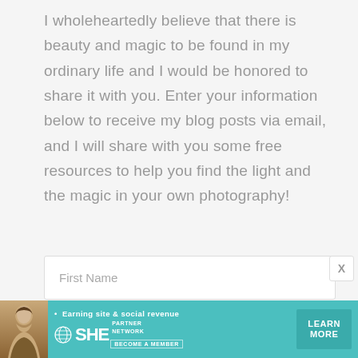I wholeheartedly believe that there is beauty and magic to be found in my ordinary life and I would be honored to share it with you. Enter your information below to receive my blog posts via email, and I will share with you some free resources to help you find the light and the magic in your own photography!
[Figure (screenshot): Web form with First Name field (white input box with placeholder text)]
[Figure (screenshot): Web form with Last Name field (white input box with placeholder text)]
[Figure (screenshot): Advertisement banner for SHE Partner Network with teal background, woman photo, tagline 'Earning site & social revenue', SHE logo, and LEARN MORE button]